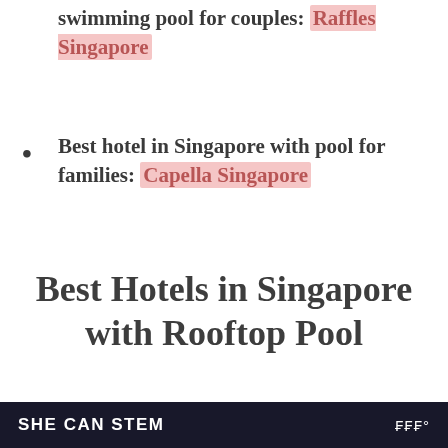swimming pool for couples: Raffles Singapore
Best hotel in Singapore with pool for families: Capella Singapore
Best Hotels in Singapore with Rooftop Pool
1. Marina Bay Sands
[Figure (photo): Dusk/sunset photo with palm tree silhouettes and purple-pink sky]
SHE CAN STEM